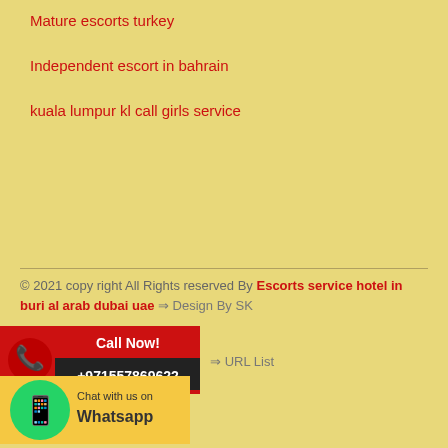Mature escorts turkey
Independent escort in bahrain
kuala lumpur kl call girls service
© 2021 copy right All Rights reserved By Escorts service hotel in buri al arab dubai uae ⇒ Design By SK
[Figure (infographic): Red Call Now banner with phone icon and number +971557869622]
⇒ URL List
[Figure (infographic): WhatsApp Chat banner with green WhatsApp icon and text 'Chat with us on Whatsapp']